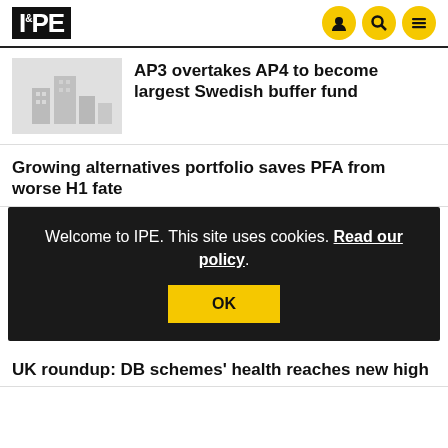IPE
AP3 overtakes AP4 to become largest Swedish buffer fund
Growing alternatives portfolio saves PFA from worse H1 fate
Welcome to IPE. This site uses cookies. Read our policy.
UK roundup: DB schemes' health reaches new high